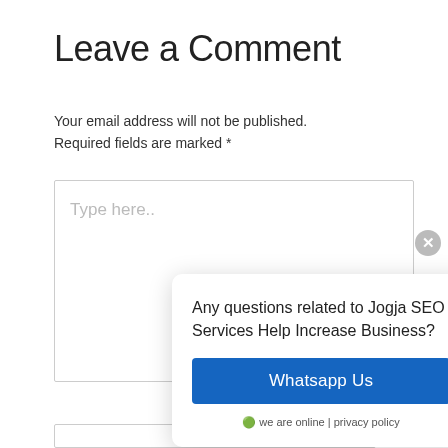Leave a Comment
Your email address will not be published.
Required fields are marked *
[Figure (screenshot): Comment text area input box with placeholder text 'Type here..' and a close button (X) to the right]
[Figure (infographic): Popup chat widget with text 'Any questions related to Jogja SEO Services Help Increase Business?', a blue 'Whatsapp Us' button, and footer text '🟢 we are online | privacy policy']
[Figure (logo): WhatsApp floating action button icon in green rounded square at bottom right]